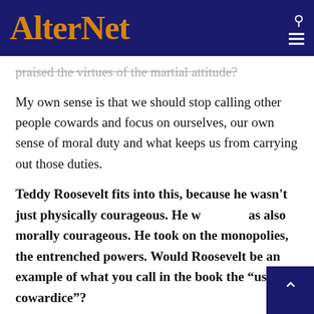AlterNet
praised the virtues of the martial attitude?
My own sense is that we should stop calling other people cowards and focus on ourselves, our own sense of moral duty and what keeps us from carrying out those duties.
Teddy Roosevelt fits into this, because he wasn't just physically courageous. He was also morally courageous. He took on the monopolies, the entrenched powers. Would Roosevelt be an example of what you call in the book the “uses of cowardice”?